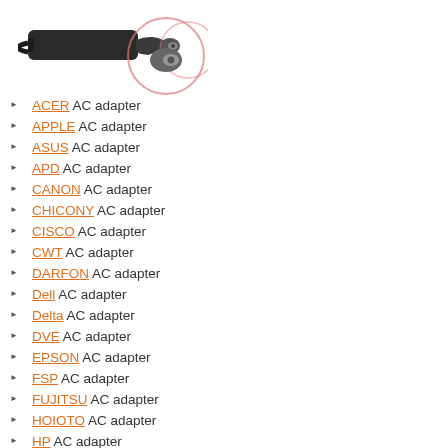[Figure (photo): AC adapter/power supply photo showing cable and connector tip with circular close-up inset]
ACER AC adapter
APPLE AC adapter
ASUS AC adapter
APD AC adapter
CANON AC adapter
CHICONY AC adapter
CISCO AC adapter
CWT AC adapter
DARFON AC adapter
Dell AC adapter
Delta AC adapter
DVE AC adapter
EPSON AC adapter
FSP AC adapter
FUJITSU AC adapter
HOIOTO AC adapter
HP AC adapter
LENOVO AC adapter
Liteon AC adapter
LG AC adapter